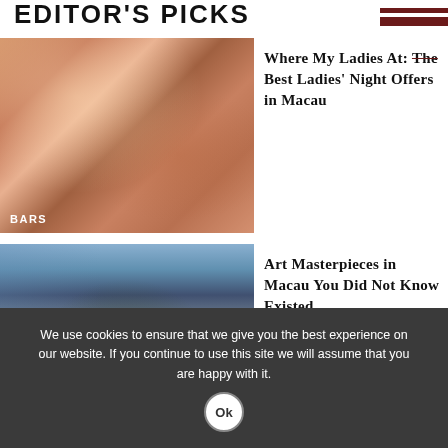EDITOR'S PICKS
[Figure (photo): People clinking cocktail glasses at a bar, warm tones. Label: BARS]
Where My Ladies At: The Best Ladies' Night Offers in Macau
[Figure (photo): Outdoor sculpture and modern building with trees. Label: ARTS]
Art Masterpieces in Macau You Did Not Know Existed
We use cookies to ensure that we give you the best experience on our website. If you continue to use this site we will assume that you are happy with it.